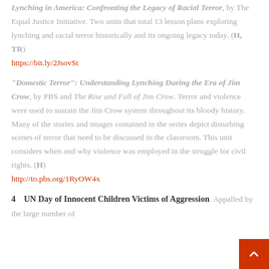Lynching in America: Confronting the Legacy of Racial Terror, by The Equal Justice Initiative. Two units that total 13 lesson plans exploring lynching and racial terror historically and its ongoing legacy today. (H, TR)
https://bit.ly/2JsovSt
"Domestic Terror": Understanding Lynching During the Era of Jim Crow, by PBS and The Rise and Fall of Jim Crow. Terror and violence were used to sustain the Jim Crow system throughout its bloody history. Many of the stories and images contained in the series depict disturbing scenes of terror that need to be discussed in the classroom. This unit considers when and why violence was employed in the struggle for civil rights. (H)
http://to.pbs.org/1RyOW4x
4   UN Day of Innocent Children Victims of Aggression. Appalled by the large number of